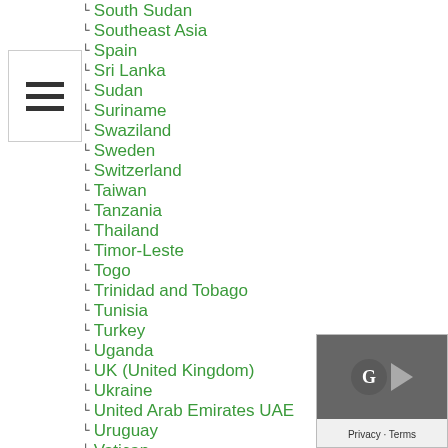South Sudan
Southeast Asia
Spain
Sri Lanka
Sudan
Suriname
Swaziland
Sweden
Switzerland
Taiwan
Tanzania
Thailand
Timor-Leste
Togo
Trinidad and Tobago
Tunisia
Turkey
Uganda
UK (United Kingdom)
Ukraine
United Arab Emirates UAE
Uruguay
Vatican
Venezuela